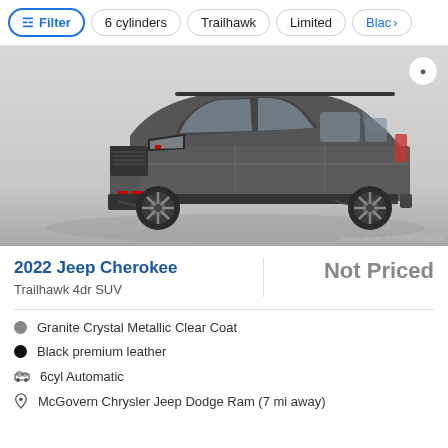Filter | 6 cylinders | Trailhawk | Limited | Black
[Figure (photo): 2022 Jeep Cherokee Trailhawk 4dr SUV in Granite Crystal Metallic Clear Coat, 3/4 front view on gradient background. Stock photo © EVOX Images]
2022 Jeep Cherokee
Not Priced
Trailhawk 4dr SUV
Granite Crystal Metallic Clear Coat
Black premium leather
6cyl Automatic
McGovern Chrysler Jeep Dodge Ram (7 mi away)